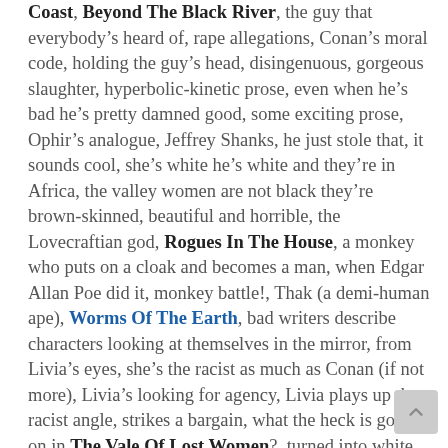Coast, Beyond The Black River, the guy that everybody's heard of, rape allegations, Conan's moral code, holding the guy's head, disingenuous, gorgeous slaughter, hyperbolic-kinetic prose, even when he's bad he's pretty damned good, some exciting prose, Ophir's analogue, Jeffrey Shanks, he just stole that, it sounds cool, she's white he's white and they're in Africa, the valley women are not black they're brown-skinned, beautiful and horrible, the Lovecraftian god, Rogues In The House, a monkey who puts on a cloak and becomes a man, when Edgar Allan Poe did it, monkey battle!, Thak (a demi-human ape), Worms Of The Earth, bad writers describe characters looking at themselves in the mirror, from Livia's eyes, she's the racist as much as Conan (if not more), Livia's looking for agency, Livia plays up the racist angle, strikes a bargain, what the heck is going on in The Vale Of Lost Women?, turned into white flowers, Apollo and Daphne, "ravishers", a suicide situation, lilies rather than